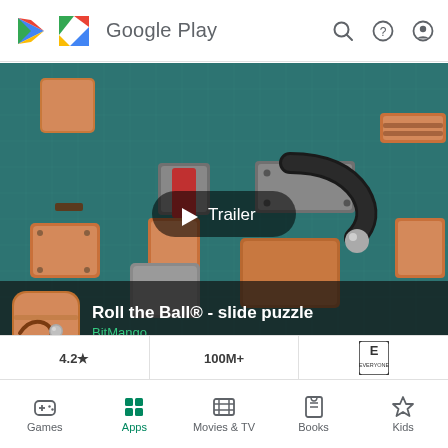Google Play
[Figure (screenshot): Google Play store listing for Roll the Ball® - slide puzzle by BitMango. Shows a game trailer thumbnail with wooden sliding puzzle blocks on a teal grid background. A play button with 'Trailer' text overlay is centered. Below the hero image is the app icon, app name 'Roll the Ball® - slide puzzle', developer 'BitMango', and 'Contains ads · In-app purchases'. Rating 4.2★, 100M+ downloads, ESRB E rating shown at bottom.]
Roll the Ball® - slide puzzle
BitMango
Contains ads · In-app purchases
4.2★   100M+
Games   Apps   Movies & TV   Books   Kids